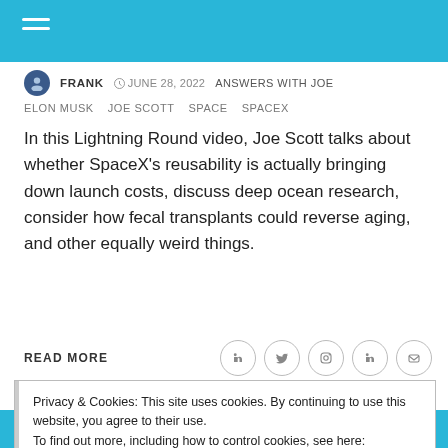FRANK   JUNE 28, 2022   ANSWERS WITH JOE
ELON MUSK   JOE SCOTT   SPACE   SPACEX
In this Lightning Round video, Joe Scott talks about whether SpaceX's reusability is actually bringing down launch costs, discuss deep ocean research, consider how fecal transplants could reverse aging, and other equally weird things.
READ MORE
Privacy & Cookies: This site uses cookies. By continuing to use this website, you agree to their use.
To find out more, including how to control cookies, see here:
Cookie Policy
Close and accept
[Figure (photo): Bottom strip showing a blue-tinted image partially visible at the bottom of the page]